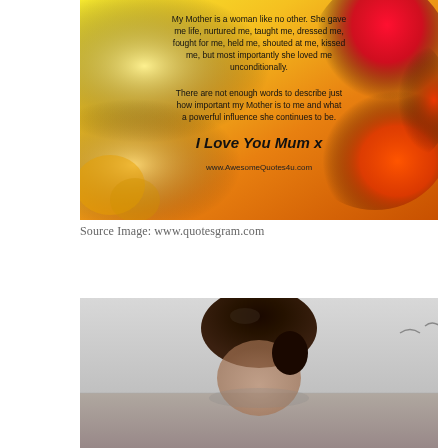[Figure (illustration): Motivational quote image with yellow-orange gradient background and red/orange roses on the right side. Text reads: 'My Mother is a woman like no other. She gave me life, nurtured me, taught me, dressed me, fought for me, held me, shouted at me, kissed me, but most importantly she loved me unconditionally. There are not enough words to describe just how important my Mother is to me and what a powerful influence she continues to be. I Love You Mum x www.AwesomeQuotes4u.com']
Source Image: www.quotesgram.com
[Figure (photo): Black and white or desaturated photo showing the back/side of a person's head with dark hair pulled back, against a light grey background.]